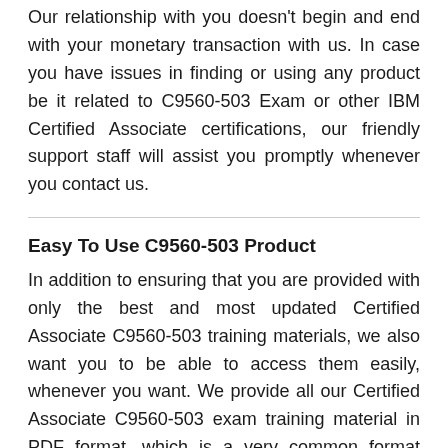Our relationship with you doesn't begin and end with your monetary transaction with us. In case you have issues in finding or using any product be it related to C9560-503 Exam or other IBM Certified Associate certifications, our friendly support staff will assist you promptly whenever you contact us.
Easy To Use C9560-503 Product
In addition to ensuring that you are provided with only the best and most updated Certified Associate C9560-503 training materials, we also want you to be able to access them easily, whenever you want. We provide all our Certified Associate C9560-503 exam training material in PDF format, which is a very common format found in all computers and gadgets. Regardless of whichever computer you have, you just need to download one of the many PDF readers that are available for free.